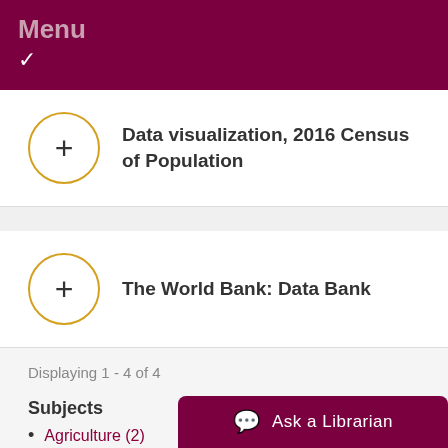Menu
Data visualization, 2016 Census of Population
The World Bank: Data Bank
Displaying 1 - 4 of 4
Subjects
Agriculture (2)
Business/Financial (2)
Census (3)
Crime (1)
Ask a Librarian